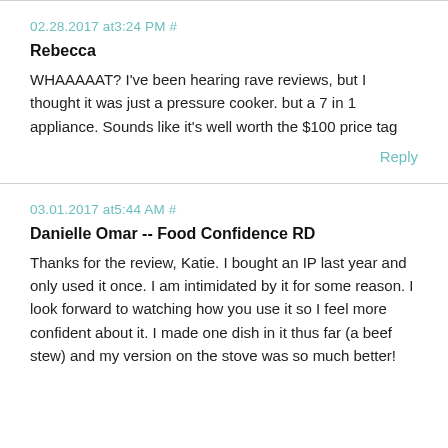02.28.2017 at3:24 PM #
Rebecca
WHAAAAAT? I've been hearing rave reviews, but I thought it was just a pressure cooker. but a 7 in 1 appliance. Sounds like it's well worth the $100 price tag
Reply
03.01.2017 at5:44 AM #
Danielle Omar -- Food Confidence RD
Thanks for the review, Katie. I bought an IP last year and only used it once. I am intimidated by it for some reason. I look forward to watching how you use it so I feel more confident about it. I made one dish in it thus far (a beef stew) and my version on the stove was so much better!